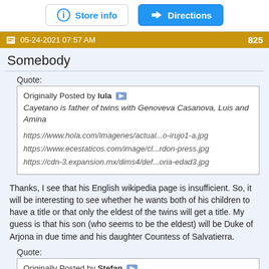[Figure (screenshot): Store info and Directions buttons at top of page]
05-24-2021 07:57 AM   825
Somebody
Quote:
Originally Posted by lula
Cayetano is father of twins with Genoveva Casanova, Luis and Amina

https://www.hola.com/imagenes/actual...o-irujo1-a.jpg
https://www.ecestaticos.com/image/cl...rdon-press.jpg
https://cdn-3.expansion.mx/dims4/def...oria-edad3.jpg
Thanks, I see that his English wikipedia page is insufficient. So, it will be interesting to see whether he wants both of his children to have a title or that only the eldest of the twins will get a title. My guess is that his son (who seems to be the eldest) will be Duke of Arjona in due time and his daughter Countess of Salvatierra.
Quote:
Originally Posted by Stefan
But his brother Fernando is unmarried and holds the Title Marquis of San Vicente del Barco...